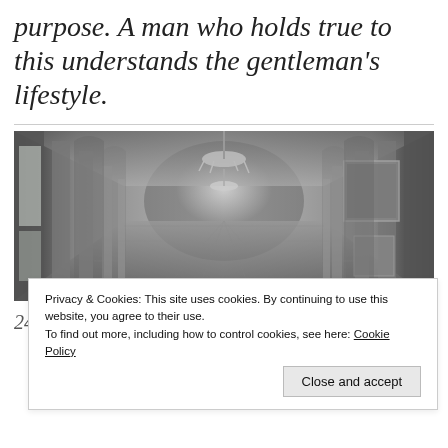purpose. A man who holds true to this understands the gentleman's lifestyle.
[Figure (photo): Black and white photograph of an ornate palace hallway with arched columns, chandelier, and paintings on the walls, viewed in perspective]
24   The Cherishing Touch
Privacy & Cookies: This site uses cookies. By continuing to use this website, you agree to their use.
To find out more, including how to control cookies, see here: Cookie Policy
Close and accept